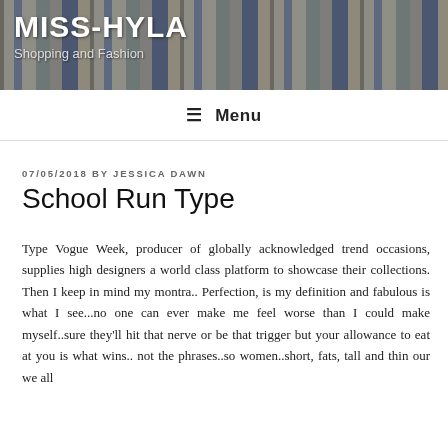MISS-HYLA
Shopping and Fashion
≡ Menu
07/05/2018 BY JESSICA DAWN
School Run Type
Type Vogue Week, producer of globally acknowledged trend occasions, supplies high designers a world class platform to showcase their collections. Then I keep in mind my montra.. Perfection, is my definition and fabulous is what I see...no one can ever make me feel worse than I could make myself..sure they'll hit that nerve or be that trigger but your allowance to eat at you is what wins.. not the phrases..so women..short, fats, tall and thin our we all